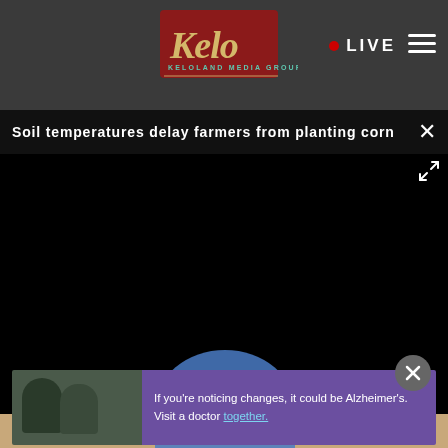KELOLAND MEDIA GROUP — LIVE
Soil temperatures delay farmers from planting corn
[Figure (screenshot): Black video player area with play button, mute button, and fullscreen expand icon on bottom bar]
[Figure (photo): Advertisement banner: person with Alzheimer's awareness ad. Text: If you're noticing changes, it could be Alzheimer's. Visit a doctor together.]